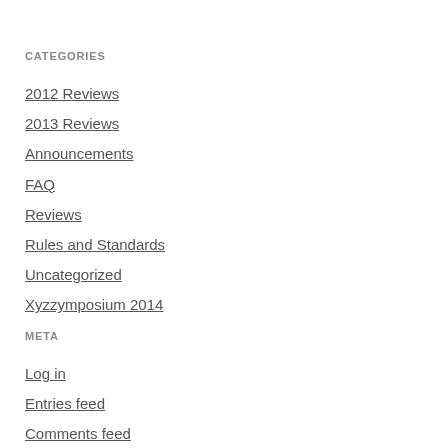CATEGORIES
2012 Reviews
2013 Reviews
Announcements
FAQ
Reviews
Rules and Standards
Uncategorized
Xyzzymposium 2014
META
Log in
Entries feed
Comments feed